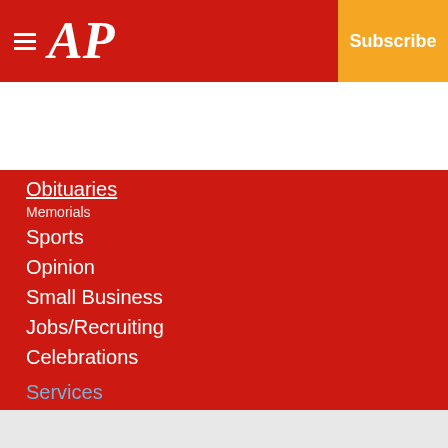AP — Subscribe
Obituaries
Memorials
Sports
Opinion
Small Business
Jobs/Recruiting
Celebrations
Services
About Us
Copyright
© 2022, American Press